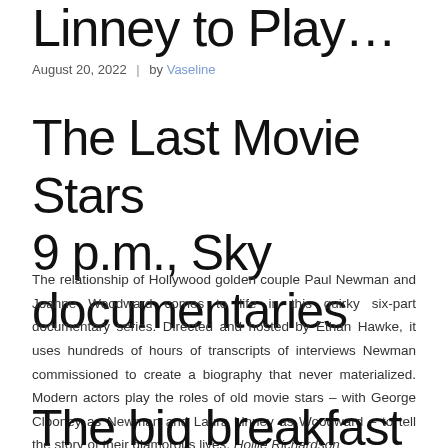Linney to Play…
August 20, 2022 | by Vaseline
The Last Movie Stars
9 p.m., Sky documentaries
The relationship of Hollywood golden couple Paul Newman and Joanne Woodward comes to life in this quirky six-part documentary series. Directed and hosted by Ethan Hawke, it uses hundreds of hours of transcripts of interviews Newman commissioned to create a biography that never materialized. Modern actors play the roles of old movie stars – with George Clooney as Newman and Laura Linney as Woodward – to tell the story of their glamorous lives. Hollie Richardson
The big breakfast